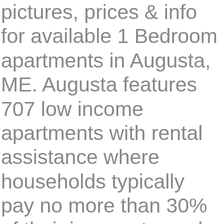pictures, prices & info for available 1 Bedroom apartments in Augusta, ME. Augusta features 707 low income apartments with rental assistance where households typically pay no more than 30% of their income towards rent. Get around the city with ease and pick up a car rental in Augusta, Maine, United States of America. Looking to rent an RV in Augusta, Maine? Find Augusta apartments, condos, town homes, single family homes and much more on Trulia. Explore apartment listings and get details like rental price, floor plans, photos, amenities, and much more. Instagram. Apartment rent in Augusta has increased by 2.4% in the past year. Craigslist has listings for augusta in apartments / housing for rent in the Maine area. Facebook. Find the Perfect House for Rent in Augusta, ME. View detailed property information with 3D Tours and real-time updates. By searching Northstar MLS listings you agree to the, Trulia is a registered Trademark